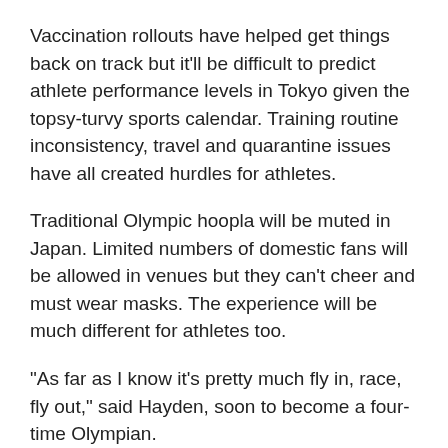Vaccination rollouts have helped get things back on track but it'll be difficult to predict athlete performance levels in Tokyo given the topsy-turvy sports calendar. Training routine inconsistency, travel and quarantine issues have all created hurdles for athletes.
Traditional Olympic hoopla will be muted in Japan. Limited numbers of domestic fans will be allowed in venues but they can't cheer and must wear masks. The experience will be much different for athletes too.
"As far as I know it's pretty much fly in, race, fly out," said Hayden, soon to become a four-time Olympian.
[Figure (other): Advertisement placeholder box with light grey background and 'Advertisement' label text in grey]